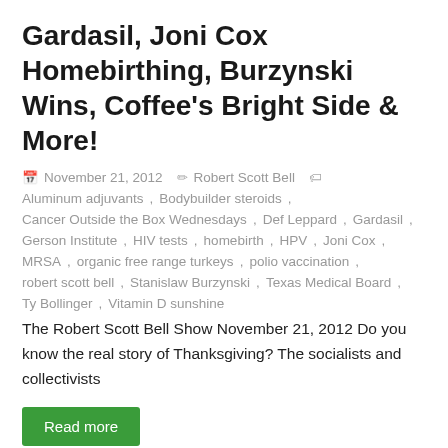Gardasil, Joni Cox Homebirthing, Burzynski Wins, Coffee's Bright Side & More!
November 21, 2012  Robert Scott Bell  Aluminum adjuvants, Bodybuilder steroids, Cancer Outside the Box Wednesdays, Def Leppard, Gardasil, Gerson Institute, HIV tests, homebirth, HPV, Joni Cox, MRSA, organic free range turkeys, polio vaccination, robert scott bell, Stanislaw Burzynski, Texas Medical Board, Ty Bollinger, Vitamin D sunshine
The Robert Scott Bell Show November 21, 2012 Do you know the real story of Thanksgiving? The socialists and collectivists
Read more
Show Notes